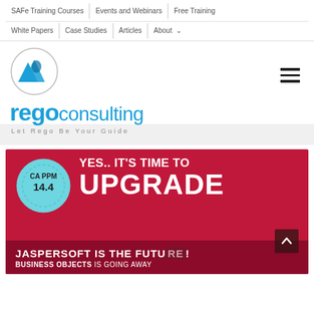SAFe Training Courses | Events and Webinars | Free Training | White Papers | Case Studies | Articles | About
[Figure (logo): Rego Consulting logo: mountain peaks inside a circle above the text 'regoconsulting' in blue with tagline 'Let Rego Be Your Guide']
[Figure (infographic): Banner advertisement: dark red/crimson background with CA PPM 14.4 badge circle on left, large white text 'YES.. IT'S TIME TO UPGRADE', bottom strip reads 'JASPERSOFT IS THE FUTURE! BUSINESS OBJECTS IS GOING AWAY']